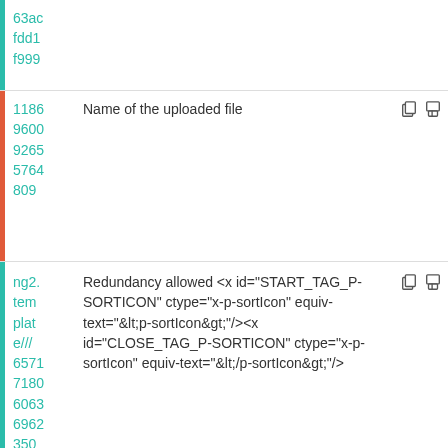| 65ac
fdd1
f999 |  |  |
| 1186
9600
9265
5764
809 | Name of the uploaded file | icons |
| ng2.tem
plate///
6571
7180
6063
6962
350 | Redundancy allowed <x id="START_TAG_P-SORTICON" ctype="x-p-sortIcon" equiv-text="&lt;p-sortIcon&gt;"/><x id="CLOSE_TAG_P-SORTICON" ctype="x-p-sortIcon" equiv-text="&lt;/p-sortIcon&gt;"/> | icons |
| ng2. | Plugin homepage (new window) | icons |